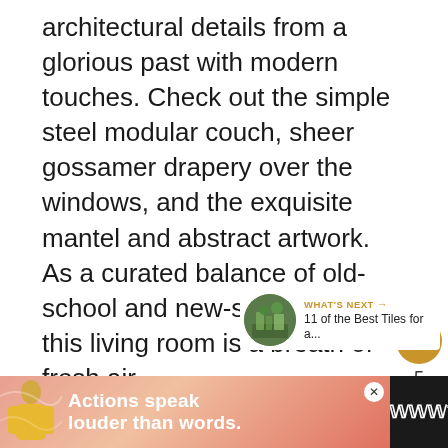architectural details from a glorious past with modern touches. Check out the simple steel modular couch, sheer gossamer drapery over the windows, and the exquisite mantel and abstract artwork. As a curated balance of old-school and new-school decor, this living room is a breath of fresh air.
[Figure (infographic): UI floating panel with heart/like button (gold), count of 5, and share button on white circular background]
[Figure (infographic): What's Next card showing a circular thumbnail of an outdoor/garden scene and text '11 of the Best Tiles for a...' with gold WHAT'S NEXT label and arrow]
[Figure (infographic): Advertisement banner with dark background on left, pink/salmon gradient ad area showing a person in yellow jacket and bold white text 'Actions speak louder than words.' with a close X button and Whoop logo on right]